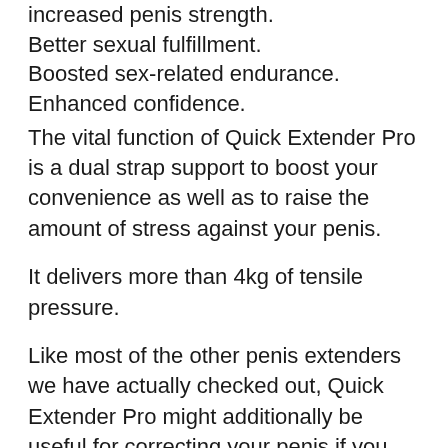increased penis strength.
Better sexual fulfillment.
Boosted sex-related endurance.
Enhanced confidence.
The vital function of Quick Extender Pro is a dual strap support to boost your convenience as well as to raise the amount of stress against your penis.
It delivers more than 4kg of tensile pressure.
Like most of the other penis extenders we have actually checked out, Quick Extender Pro might additionally be useful for correcting your penis if you have a curvature.
Quick Extender Pro Price.